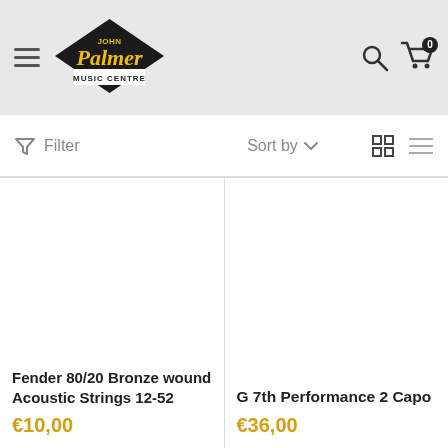[Figure (logo): John Palmer Music Centre logo — diamond shaped badge with yellow script 'Palmer' text and 'MUSIC CENTRE' below]
Filter
Sort by
Fender 80/20 Bronze wound Acoustic Strings 12-52 — €10,00
G 7th Performance 2 Capo — €36,00